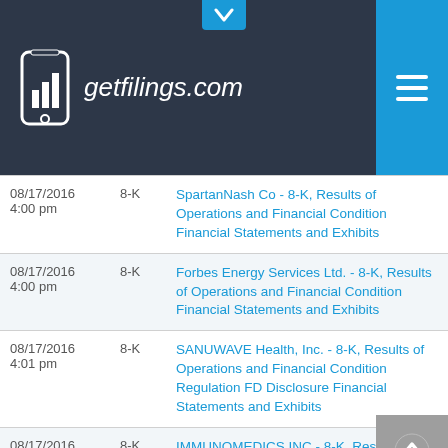getfilings.com
| Date | Type | Filing |
| --- | --- | --- |
| 08/17/2016 4:00 pm | 8-K | SpartanNash Co - 8-K, Results of Operations and Financial Condition Financial Statements and Exhibits |
| 08/17/2016 4:00 pm | 8-K | Forbes Energy Services Ltd. - 8-K, Results of Operations and Financial Condition Financial Statements and Exhibits |
| 08/17/2016 4:01 pm | 8-K | SANUWAVE Health, Inc. - 8-K, Results of Operations and Financial Condition Regulation FD Disclosure Financial Statements and Exhibits |
| 08/17/2016 4:01 pm | 8-K | IMMUNOMEDICS INC - 8-K, Results of Operations and Financial Condition |